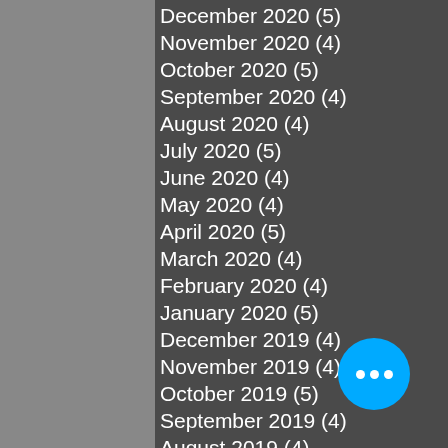December 2020 (5)
November 2020 (4)
October 2020 (5)
September 2020 (4)
August 2020 (4)
July 2020 (5)
June 2020 (4)
May 2020 (4)
April 2020 (5)
March 2020 (4)
February 2020 (4)
January 2020 (5)
December 2019 (4)
November 2019 (4)
October 2019 (5)
September 2019 (4)
August 2019 (4)
July 2019 (5)
June 2019 (4)
May 2019 (5)
April 2019 (4)
March 2019 (4)